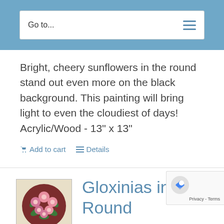Go to...
Bright, cheery sunflowers in the round stand out even more on the black background. This painting will bring light to even the cloudiest of days! Acrylic/Wood - 13" x 13"
Add to cart   Details
[Figure (photo): Circular painting of gloxinia flowers with pink blooms on dark brown/maroon background with green leaves]
Gloxinias in the Round